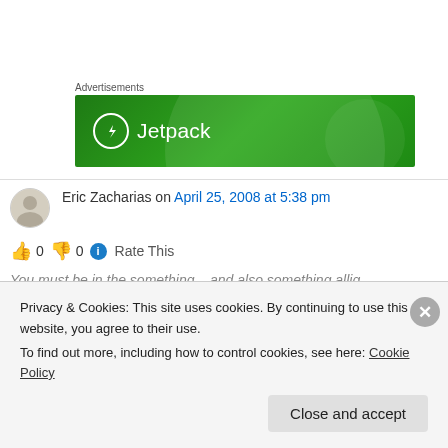Advertisements
[Figure (illustration): Jetpack advertisement banner — green background with Jetpack logo (lightning bolt in circle) and text 'Jetpack']
Eric Zacharias on April 25, 2008 at 5:38 pm
👍 0 👎 0 ℹ Rate This
Privacy & Cookies: This site uses cookies. By continuing to use this website, you agree to their use.
To find out more, including how to control cookies, see here: Cookie Policy
Close and accept